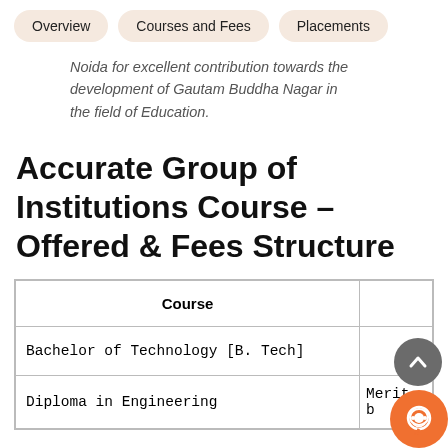Overview | Courses and Fees | Placements
Noida for excellent contribution towards the development of Gautam Buddha Nagar in the field of Education.
Accurate Group of Institutions Course - Offered & Fees Structure
| Course |  |
| --- | --- |
| Bachelor of Technology [B. Tech] |  |
| Diploma in Engineering | Merit b |